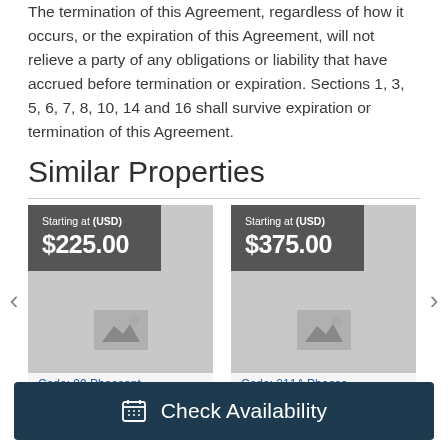The termination of this Agreement, regardless of how it occurs, or the expiration of this Agreement, will not relieve a party of any obligations or liability that have accrued before termination or expiration. Sections 1, 3, 5, 6, 7, 8, 10, 14 and 16 shall survive expiration or termination of this Agreement.
Similar Properties
[Figure (infographic): Two property listing cards side by side. Left card: 'Starting at (USD) $225.00', Code: 99 Pheasant... Right card: 'Starting at (USD) $375.00', Code: 211A Pheasa...]
Check Availability